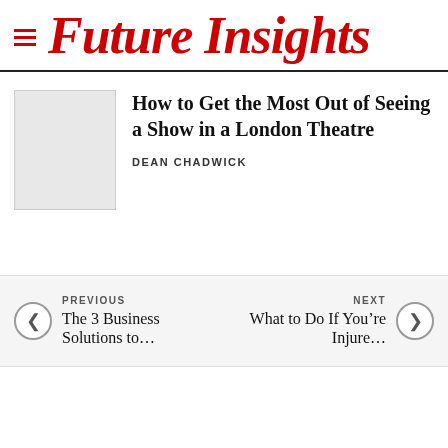Future Insights
How to Get the Most Out of Seeing a Show in a London Theatre
DEAN CHADWICK
PREVIOUS
The 3 Business Solutions to…
NEXT
What to Do If You're Injure…